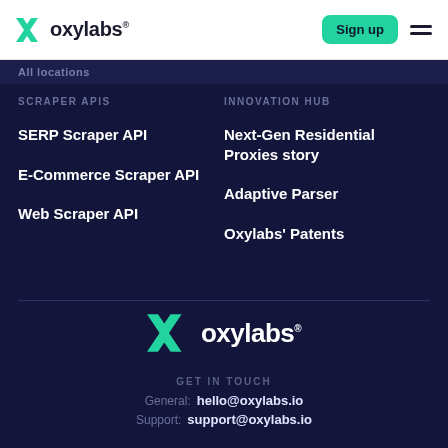oxylabs® — Sign up
All locations
SCRAPER APIS
SERP Scraper API
E-Commerce Scraper API
Web Scraper API
INNOVATION HUB
Next-Gen Residential Proxies story
Adaptive Parser
Oxylabs' Patents
[Figure (logo): Oxylabs logo with green X icon and white oxylabs text]
GET IN TOUCH
General: hello@oxylabs.io
Support: support@oxylabs.io